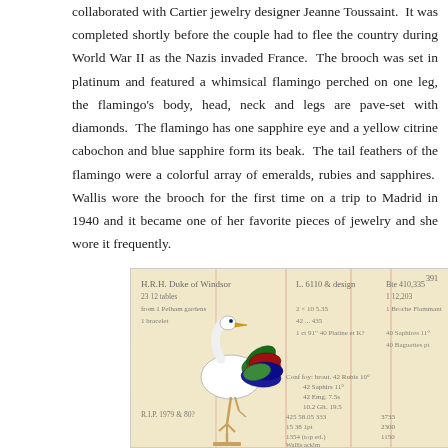collaborated with Cartier jewelry designer Jeanne Toussaint. It was completed shortly before the couple had to flee the country during World War II as the Nazis invaded France. The brooch was set in platinum and featured a whimsical flamingo perched on one leg, the flamingo's body, head, neck and legs are pave-set with diamonds. The flamingo has one sapphire eye and a yellow citrine cabochon and blue sapphire form its beak. The tail feathers of the flamingo were a colorful array of emeralds, rubies and sapphires. Wallis wore the brooch for the first time on a trip to Madrid in 1940 and it became one of her favorite pieces of jewelry and she wore it frequently.
[Figure (photo): A photograph of the Cartier flamingo brooch placed on top of a handwritten Cartier ledger/document page with cursive writing and numbers. The brooch depicts a flamingo with a white enamel body standing on one leg, with colorful gemstone tail feathers in red (rubies), green (emeralds), and blue (sapphires), and a gold beak.]